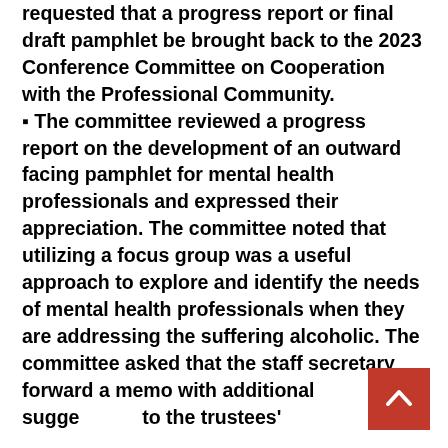requested that a progress report or final draft pamphlet be brought back to the 2023 Conference Committee on Cooperation with the Professional Community. ▪ The committee reviewed a progress report on the development of an outward facing pamphlet for mental health professionals and expressed their appreciation. The committee noted that utilizing a focus group was a useful approach to explore and identify the needs of mental health professionals when they are addressing the suffering alcoholic. The committee asked that the staff secretary forward a memo with additional suggestions to the trustees'